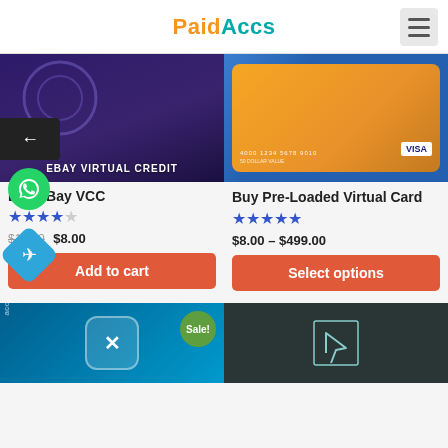PaidAccs
[Figure (screenshot): eBay Virtual Credit Card product image - dark purple background with EBAY VIRTUAL CREDIT text]
[Figure (photo): Pre-Loaded Virtual Visa card photo - orange and blue Visa card]
Buy eBay VCC
★★★★ (4 stars)
$10.00 $8.00
Add to cart
Buy Pre-Loaded Virtual Card
★★★★★ (5 stars)
$8.00 – $499.00
Select options
[Figure (screenshot): Second row left - teal/blue product image with Sale! badge]
[Figure (screenshot): Second row right - dark product image]